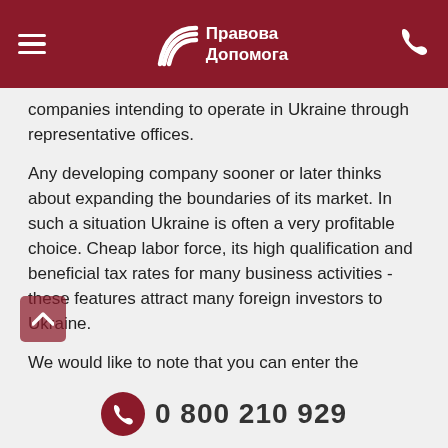Правова Допомога
companies intending to operate in Ukraine through representative offices.
Any developing company sooner or later thinks about expanding the boundaries of its market. In such a situation Ukraine is often a very profitable choice. Cheap labor force, its high qualification and beneficial tax rates for many business activities - these features attract many foreign investors to Ukraine.
We would like to note that you can enter the Ukrainian market not only by opening a representative office, but also through the registration of a Ukrainian company with 100% participation of foreign companies. Both options are
0 800 210 929